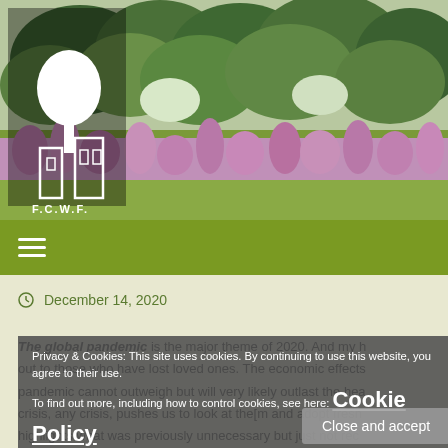[Figure (photo): Header photo of a lush garden with pink/purple wildflowers (fireweed) in the foreground and dense green trees in the background. FCWF logo (white tree and building outline) overlaid in top-left corner on dark background.]
≡
December 14, 2020
Privacy & Cookies: This site uses cookies. By continuing to use this website, you agree to their use.
To find out more, including how to control cookies, see here: Cookie Policy
The global pandemic is the major theme of 2020. And my h[eart goes] out to those who have lost loved ones. The economic effect[s of the] pandemic cannot outweigh but will very likely outlast the hea[lth] crisis, any crisis, pushes us to look at the[m and adopt fre]sh highlights what was previously unnecessary but just not rec[ognized]